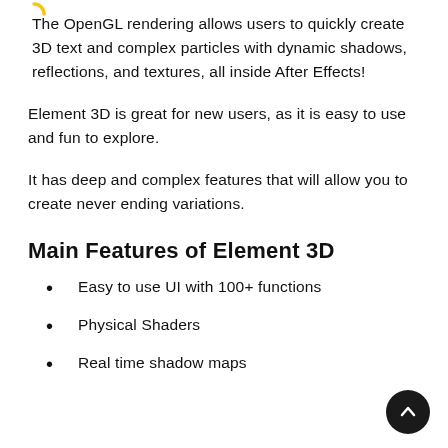The OpenGL rendering allows users to quickly create 3D text and complex particles with dynamic shadows, reflections, and textures, all inside After Effects!
Element 3D is great for new users, as it is easy to use and fun to explore.
It has deep and complex features that will allow you to create never ending variations.
Main Features of Element 3D
Easy to use UI with 100+ functions
Physical Shaders
Real time shadow maps